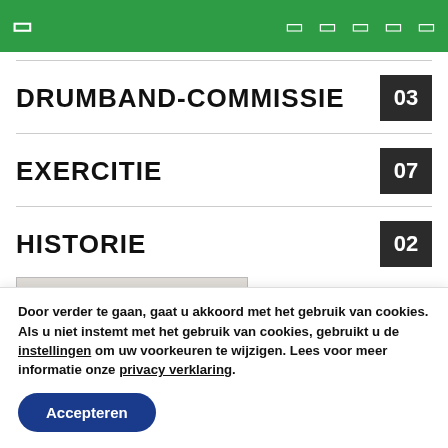[ ] [ ] [ ] [ ] [ ] [ ]
DRUMBAND-COMMISSIE 03
EXERCITIE 07
HISTORIE 02
[Figure (photo): Newspaper clipping headline reading: "ST. SALVIUS" RECIPIEERDE]
Door verder te gaan, gaat u akkoord met het gebruik van cookies. Als u niet instemt met het gebruik van cookies, gebruikt u de instellingen om uw voorkeuren te wijzigen. Lees voor meer informatie onze privacy verklaring.